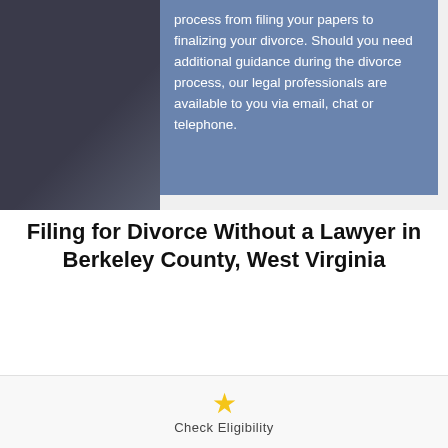process from filing your papers to finalizing your divorce. Should you need additional guidance during the divorce process, our legal professionals are available to you via email, chat or telephone.
Filing for Divorce Without a Lawyer in Berkeley County, West Virginia
Our online divorce service makes it easy to file for divorce without a lawyer. There is no requirement that you have a lawyer to file for divorce in your state. In fact, in many counties, more than half of all divorces are filed and completed without any lawyer involvement. Once you sign up to use our
Check Eligibility